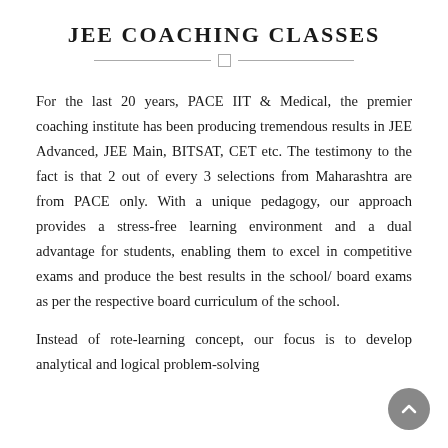JEE COACHING CLASSES
For the last 20 years, PACE IIT & Medical, the premier coaching institute has been producing tremendous results in JEE Advanced, JEE Main, BITSAT, CET etc. The testimony to the fact is that 2 out of every 3 selections from Maharashtra are from PACE only. With a unique pedagogy, our approach provides a stress-free learning environment and a dual advantage for students, enabling them to excel in competitive exams and produce the best results in the school/ board exams as per the respective board curriculum of the school.
Instead of rote-learning concept, our focus is to develop analytical and logical problem-solving